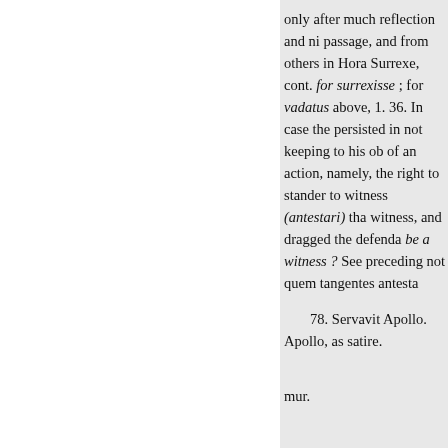only after much reflection and ni passage, and from others in Hora Surrexe, cont. for surrexisse ; for vadatus above, 1. 36. In case the persisted in not keeping to his ob of an action, namely, the right to stander to witness (antestari) tha witness, and dragged the defenda be a witness ? See preceding not quem tangentes antesta
78. Servavit Apollo. Apollo, as satire.
mur.
In this Satire Horace defends a this Book; a criticism which appe
He renews against Lucilius the proceeds to show that not wit alo